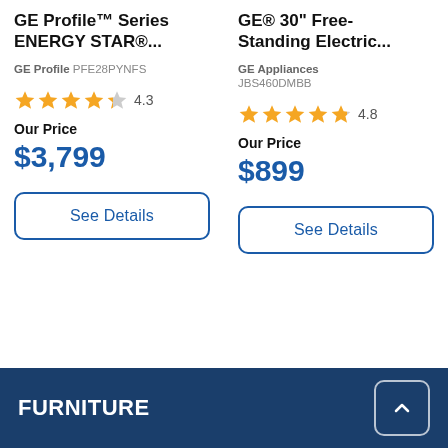GE Profile™ Series ENERGY STAR®...
GE Profile PFE28PYNFS
4.3 stars
Our Price
$3,799
See Details
GE® 30" Free-Standing Electric...
GE Appliances JBS460DMBB
4.8 stars
Our Price
$899
See Details
FURNITURE